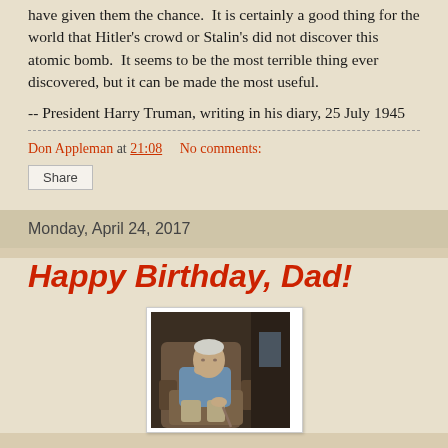have given them the chance.  It is certainly a good thing for the world that Hitler's crowd or Stalin's did not discover this atomic bomb.  It seems to be the most terrible thing ever discovered, but it can be made the most useful.
-- President Harry Truman, writing in his diary, 25 July 1945
Don Appleman at 21:08    No comments:
Share
Monday, April 24, 2017
Happy Birthday, Dad!
[Figure (photo): An elderly man sitting in a recliner chair, wearing a light blue shirt and khaki pants, resting with one hand near his face.]